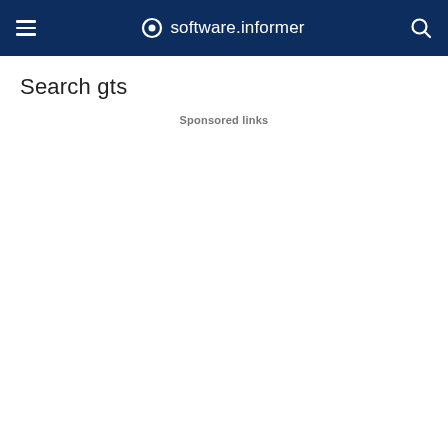software.informer
Search gts
Sponsored links